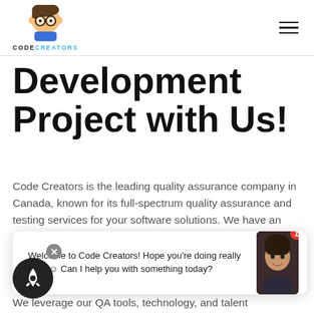[Figure (logo): Code Creators logo: cartoon boy with glasses and the text CODECREATORS below]
Development Project with Us!
Code Creators is the leading quality assurance company in Canada, known for its full-spectrum quality assurance and testing services for your software solutions. We have an expert team of quality testing engineers who remain an integral part of every project that we do to ensure that all deliverables...
We leverage our QA tools, technology, and talent
[Figure (illustration): Chat widget showing rocket button, close X button, and chat bubble: Welcome to Code Creators! Hope you're doing really well! 😊 Can I help you with something today? with an avatar photo of a woman]